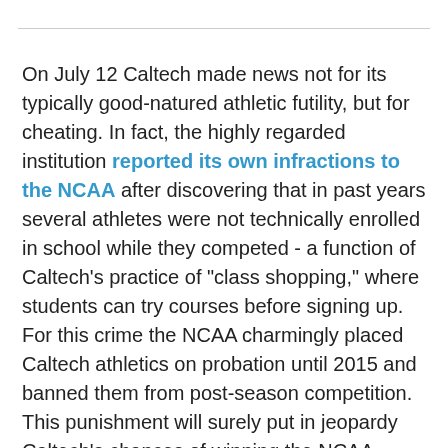On July 12 Caltech made news not for its typically good-natured athletic futility, but for cheating. In fact, the highly regarded institution reported its own infractions to the NCAA after discovering that in past years several athletes were not technically enrolled in school while they competed - a function of Caltech's practice of "class shopping," where students can try courses before signing up. For this crime the NCAA charmingly placed Caltech athletics on probation until 2015 and banned them from post-season competition. This punishment will surely put in jeopardy Caltech's chances of winning the NCAA championship in 2012. Oh no, wait: Caltech hasn't averaged more than a single victory per season in the past decade. Well